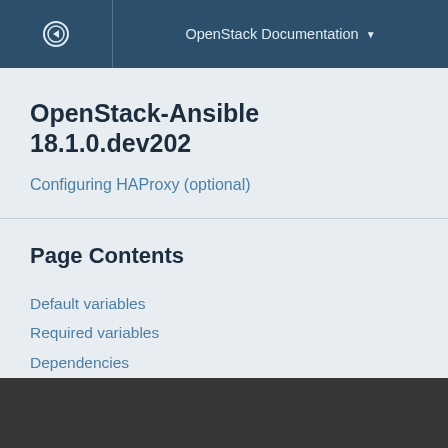OpenStack Documentation
OpenStack-Ansible 18.1.0.dev202
Configuring HAProxy (optional)
Page Contents
Default variables
Required variables
Dependencies
Example playbook